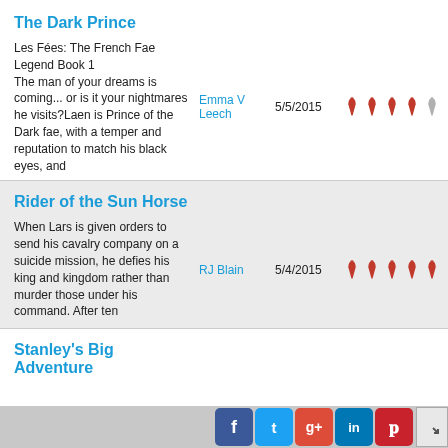The Dark Prince
Les Fées: The French Fae Legend Book 1
The man of your dreams is coming... or is it your nightmares he visits?Laen is Prince of the Dark fae, with a temper and reputation to match his black eyes, and
Emma V Leech
5/5/2015
[Figure (other): 4 red quill/pen rating icons and 1 gray quill/pen icon indicating a 4 out of 5 star rating]
Rider of the Sun Horse
When Lars is given orders to send his cavalry company on a suicide mission, he defies his king and kingdom rather than murder those under his command. After ten
RJ Blain
5/4/2015
[Figure (other): 5 red quill/pen rating icons indicating a 5 out of 5 star rating]
Stanley's Big Adventure
[Figure (other): Social media share buttons: Facebook (blue), Twitter (light blue), Google+ (red), LinkedIn (dark blue), Pinterest (red), and an expand button]